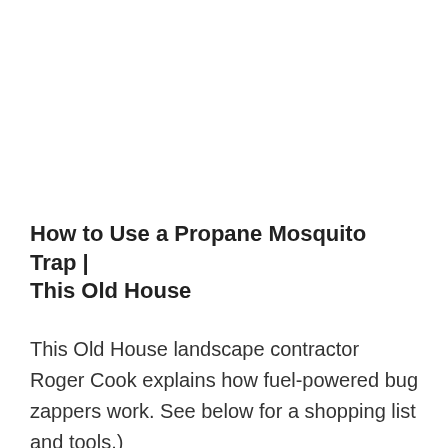How to Use a Propane Mosquito Trap | This Old House
This Old House landscape contractor Roger Cook explains how fuel-powered bug zappers work. See below for a shopping list and tools.)